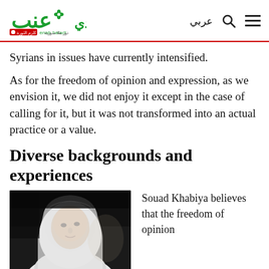enab baladi — عربي
Syrians in issues have currently intensified.
As for the freedom of opinion and expression, as we envision it, we did not enjoy it except in the case of calling for it, but it was not transformed into an actual practice or a value.
Diverse backgrounds and experiences
[Figure (photo): Portrait photo of a woman wearing a white hijab, looking slightly upward, dark background]
Souad Khabiya believes that the freedom of opinion